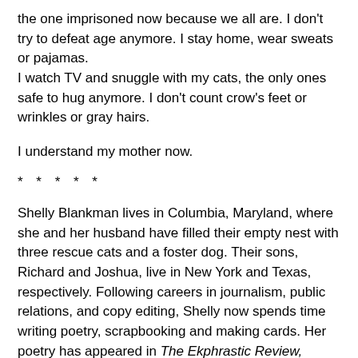the one imprisoned now because we all are. I don't try to defeat age anymore. I stay home, wear sweats or pajamas.
I watch TV and snuggle with my cats, the only ones safe to hug anymore. I don't count crow's feet or wrinkles or gray hairs.
I understand my mother now.
* * * * *
Shelly Blankman lives in Columbia, Maryland, where she and her husband have filled their empty nest with three rescue cats and a foster dog. Their sons, Richard and Joshua, live in New York and Texas, respectively. Following careers in journalism, public relations, and copy editing, Shelly now spends time writing poetry, scrapbooking and making cards. Her poetry has appeared in The Ekphrastic Review, Poetry Super Highway, Halfway Down the Stairs, and Muddy River Review, among other publications. Richard and Joshua surprised her by publishing her first book of poetry, Pumpkinhood.